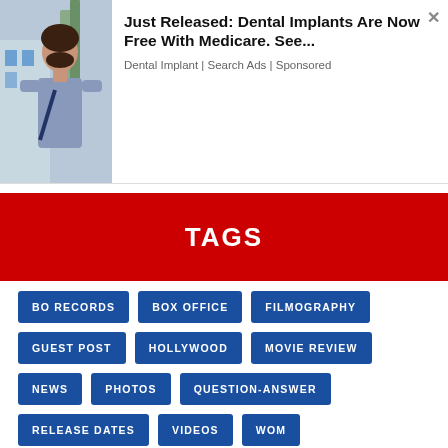[Figure (photo): Advertisement banner with photo of a woman outdoors and text about dental implants being free with Medicare]
Just Released: Dental Implants Are Now Free With Medicare. See...
Dental Implant | Search Ads | Sponsored
TAGS
BO RECORDS
BOX OFFICE
FILMOGRAPHY
GUEST POST
HOLLYWOOD
MOVIE REVIEW
NEWS
PHOTOS
QUESTION-ANSWER
RELEASE DATES
VIDEOS
WOM